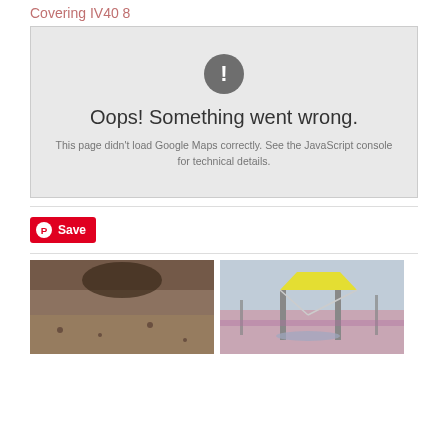Covering IV40 8
[Figure (screenshot): Google Maps error box with grey background, exclamation mark icon, text 'Oops! Something went wrong.' and 'This page didn't load Google Maps correctly. See the JavaScript console for technical details.']
[Figure (other): Pinterest Save button with red background]
[Figure (photo): Two thumbnail photos side by side: left shows a brown textured ground surface, right shows a playground with a yellow canopy structure and trees in background]